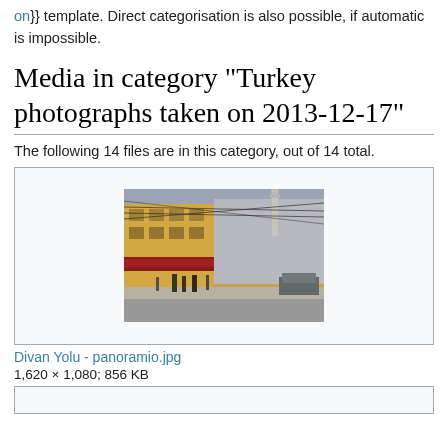on}} template. Direct categorisation is also possible, if automatic is impossible.
Media in category "Turkey photographs taken on 2013-12-17"
The following 14 files are in this category, out of 14 total.
[Figure (photo): Street scene showing Divan Yolu in Istanbul Turkey - a busy street with shops, people, and overhead cables, with a minaret visible in the background]
Divan Yolu - panoramio.jpg
1,620 × 1,080; 856 KB